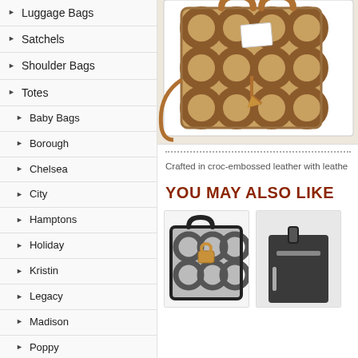Luggage Bags
Satchels
Shoulder Bags
Totes
Baby Bags
Borough
Chelsea
City
Hamptons
Holiday
Kristin
Legacy
Madison
Poppy
Waverly
[Figure (photo): Coach signature pattern handbag in tan/brown with leather strap]
Crafted in croc-embossed leather with leathe...
YOU MAY ALSO LIKE
[Figure (photo): Black Coach signature pattern handbag]
[Figure (photo): Dark Coach bag partial view]